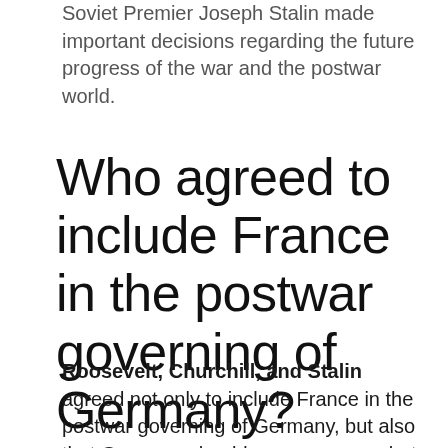Soviet Premier Joseph Stalin made important decisions regarding the future progress of the war and the postwar world.
Who agreed to include France in the postwar governing of Germany?
Roosevelt, Churchill, and Stalin agreed not only to include France in the postwar governing of Germany, but also that Germany should assume some, but not all, responsibility for reparations following the